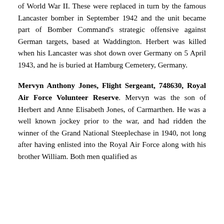of World War II. These were replaced in turn by the famous Lancaster bomber in September 1942 and the unit became part of Bomber Command's strategic offensive against German targets, based at Waddington. Herbert was killed when his Lancaster was shot down over Germany on 5 April 1943, and he is buried at Hamburg Cemetery, Germany.
Mervyn Anthony Jones, Flight Sergeant, 748630, Royal Air Force Volunteer Reserve. Mervyn was the son of Herbert and Anne Elisabeth Jones, of Carmarthen. He was a well known jockey prior to the war, and had ridden the winner of the Grand National Steeplechase in 1940, not long after having enlisted into the Royal Air Force along with his brother William. Both men qualified as